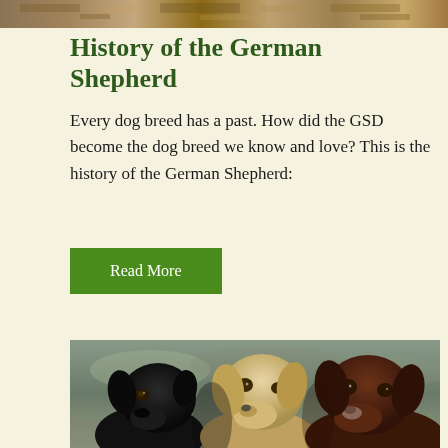[Figure (photo): Top strip showing a partial image, likely a dog or outdoor scene with warm tones]
History of the German Shepherd
Every dog breed has a past. How did the GSD become the dog breed we know and love? This is the history of the German Shepherd:
Read More
[Figure (photo): Three Labrador Retrievers sitting side by side facing the camera: a black lab on the left, a yellow/cream lab in the middle, and a chocolate lab on the right, with a blurred outdoor background]